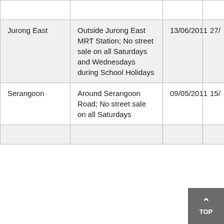|  |  |  |  |
| --- | --- | --- | --- |
|  |  |  |  |
| Jurong East | Outside Jurong East MRT Station; No street sale on all Saturdays and Wednesdays during School Holidays | 13/06/2011 | 27/ |
| Serangoon | Around Serangoon Road; No street sale on all Saturdays | 09/05/2011 | 15/ |